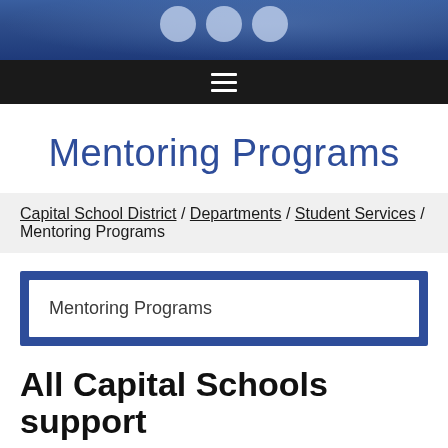[Figure (screenshot): Blue banner header with circular icons at top]
≡ (hamburger menu navigation bar)
Mentoring Programs
Capital School District / Departments / Student Services / Mentoring Programs
Mentoring Programs
All Capital Schools support